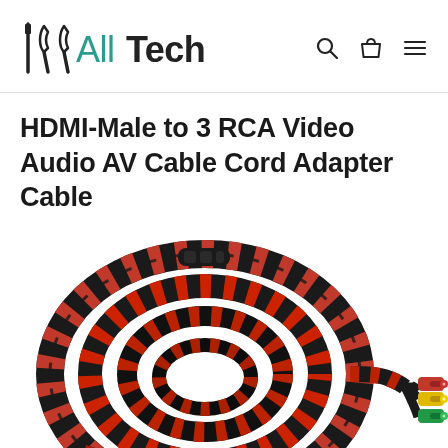AllTech
HDMI-Male to 3 RCA Video Audio AV Cable Cord Adapter Cable
[Figure (photo): Photo of a coiled black and red braided HDMI to 3 RCA cable adapter. The cable is wound in a large coil on the left side, with three RCA connectors (red, yellow, white/green) visible on the right side.]